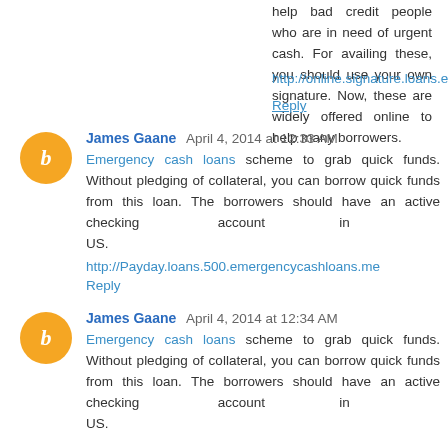help bad credit people who are in need of urgent cash. For availing these, you should use your own signature. Now, these are widely offered online to help many borrowers.
http://online.signature.loans.emergencycashloans.me
Reply
James Gaane  April 4, 2014 at 12:33 AM
Emergency cash loans scheme to grab quick funds. Without pledging of collateral, you can borrow quick funds from this loan. The borrowers should have an active checking account in US. http://Payday.loans.500.emergencycashloans.me
Reply
James Gaane  April 4, 2014 at 12:34 AM
Emergency cash loans scheme to grab quick funds. Without pledging of collateral, you can borrow quick funds from this loan. The borrowers should have an active checking account in US.